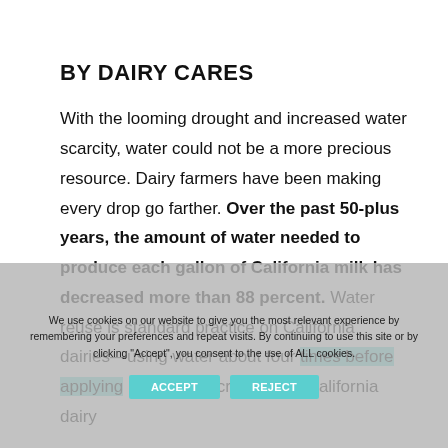BY DAIRY CARES
With the looming drought and increased water scarcity, water could not be a more precious resource. Dairy farmers have been making every drop go farther. Over the past 50-plus years, the amount of water needed to produce each gallon of California milk has decreased more than 88 percent. Water reuse is standard practice on California dairies—using water about four times before applying it to irrigate crops. How California dairy